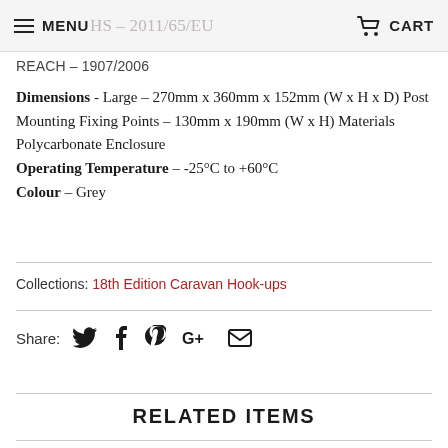MENU | CART
REACH – 1907/2006
Dimensions - Large – 270mm x 360mm x 152mm (W x H x D) Post Mounting Fixing Points – 130mm x 190mm (W x H) Materials Polycarbonate Enclosure Operating Temperature – -25°C to +60°C Colour – Grey
Collections: 18th Edition Caravan Hook-ups
Share: [Twitter] [Facebook] [Pinterest] [Google+] [Email]
RELATED ITEMS